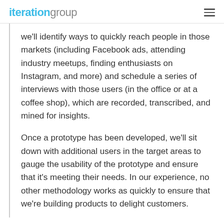iteration group
we'll identify ways to quickly reach people in those markets (including Facebook ads, attending industry meetups, finding enthusiasts on Instagram, and more) and schedule a series of interviews with those users (in the office or at a coffee shop), which are recorded, transcribed, and mined for insights.
Once a prototype has been developed, we'll sit down with additional users in the target areas to gauge the usability of the prototype and ensure that it's meeting their needs. In our experience, no other methodology works as quickly to ensure that we're building products to delight customers.